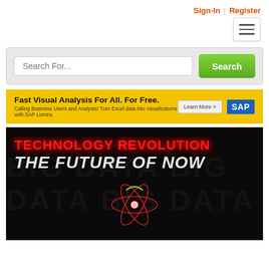Sign-In | Register
[Figure (screenshot): Hamburger menu button (three horizontal lines) in top right corner]
[Figure (screenshot): Search bar with 'Search For...' placeholder text and green 'Search' button]
[Figure (screenshot): Yellow advertisement banner: 'Fast Visual Analysis For All. For Free.' with 'Calling Business Users and Analysts! Turn Excel data into visualizations with SAP Lumira.' text, Learn More button, and SAP logo]
[Figure (screenshot): Dark hero image with 'TECHNOLOGY REVOLUTION' in red neon text and 'THE FUTURE OF NOW' in white italic bold text, with a glowing atom graphic below]